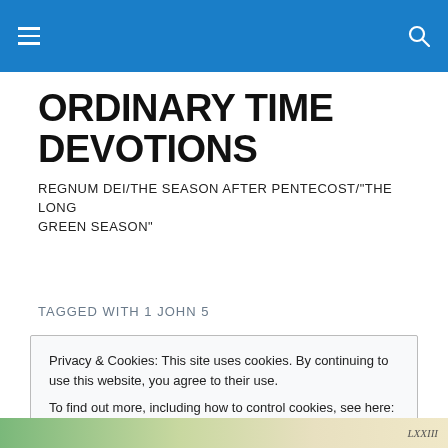Ordinary Time Devotions — site navigation header
ORDINARY TIME DEVOTIONS
REGNUM DEI/THE SEASON AFTER PENTECOST/"THE LONG GREEN SEASON"
TAGGED WITH 1 JOHN 5
Privacy & Cookies: This site uses cookies. By continuing to use this website, you agree to their use.
To find out more, including how to control cookies, see here: Cookie Policy
[Figure (illustration): Bottom strip showing a partial botanical illustration, green leaves visible, with italic text 'LXXIII' at the right edge]